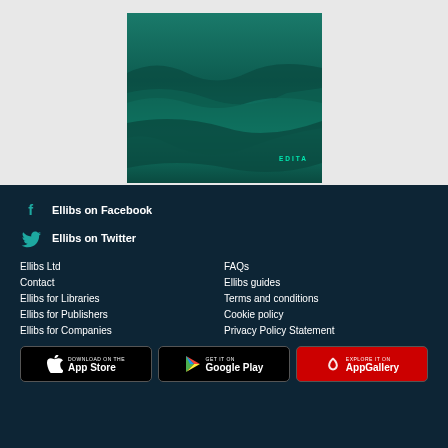[Figure (illustration): Book cover with dark teal/green ocean wave imagery and text EDITA]
Ellibs on Facebook
Ellibs on Twitter
Ellibs Ltd
Contact
Ellibs for Libraries
Ellibs for Publishers
Ellibs for Companies
FAQs
Ellibs guides
Terms and conditions
Cookie policy
Privacy Policy Statement
[Figure (screenshot): Download on the App Store button]
[Figure (screenshot): Get it on Google Play button]
[Figure (screenshot): Explore it on AppGallery button]